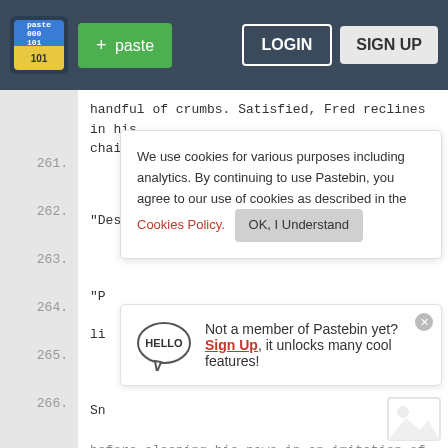Pastebin navigation bar with logo, + paste button, LOGIN and SIGN UP buttons
handful of crumbs. Satisfied, Fred reclines in his chair.
261.
262. "Dessert?"
263.
264. "P
li
265.
266. Sn
before clasping his paws in an imitation of
Pe
it
that you think about it. The air's taken on a heavy tone, and after a couple of false starts, Fred finally seems to find the words he wants to say.
267.
We use cookies for various purposes including analytics. By continuing to use Pastebin, you agree to our use of cookies as described in the Cookies Policy. OK, I Understand
Not a member of Pastebin yet? Sign Up, it unlocks many cool features!